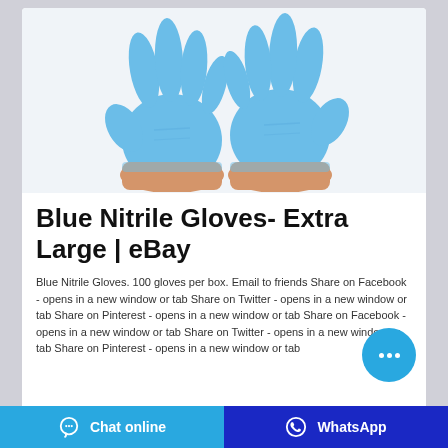[Figure (photo): Two blue nitrile disposable gloves shown from front, fingers spread, on white background]
Blue Nitrile Gloves- Extra Large | eBay
Blue Nitrile Gloves. 100 gloves per box. Email to friends Share on Facebook - opens in a new window or tab Share on Twitter - opens in a new window or tab Share on Pinterest - opens in a new window or tab Share on Facebook - opens in a new window or tab Share on Twitter - opens in a new window or tab Share on Pinterest - opens in a new window or tab
[Figure (other): Round blue chat bubble button with three dots]
Chat online  WhatsApp